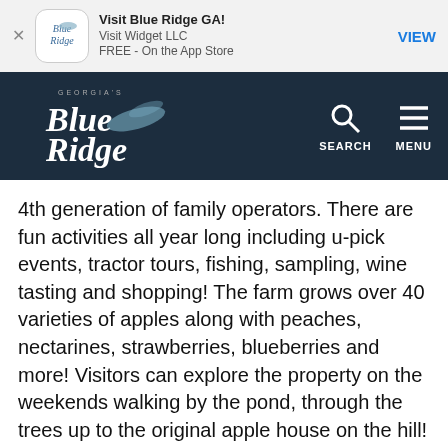[Figure (screenshot): App Store banner with Blue Ridge GA app icon, name 'Visit Blue Ridge GA!', developer 'Visit Widget LLC', price 'FREE - On the App Store', and VIEW button]
[Figure (logo): Georgia's Blue Ridge navigation bar with logo, SEARCH and MENU icons]
4th generation of family operators. There are fun activities all year long including u-pick events, tractor tours, fishing, sampling, wine tasting and shopping! The farm grows over 40 varieties of apples along with peaches, nectarines, strawberries, blueberries and more! Visitors can explore the property on the weekends walking by the pond, through the trees up to the original apple house on the hill!
Explore the Farm!